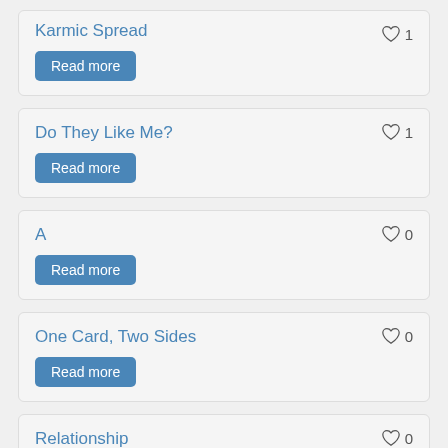Karmic Spread, likes: 1, Read more
Do They Like Me?, likes: 1, Read more
A, likes: 0, Read more
One Card, Two Sides, likes: 0, Read more
Relationship, likes: 0